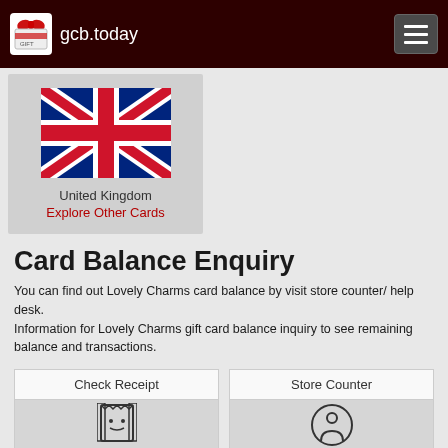gcb.today
[Figure (illustration): United Kingdom flag with Union Jack design]
United Kingdom
Explore Other Cards
Card Balance Enquiry
You can find out Lovely Charms card balance by visit store counter/ help desk.
Information for Lovely Charms gift card balance inquiry to see remaining balance and transactions.
Check Receipt
[Figure (illustration): Receipt icon]
Store Counter
[Figure (illustration): Store counter / person icon]